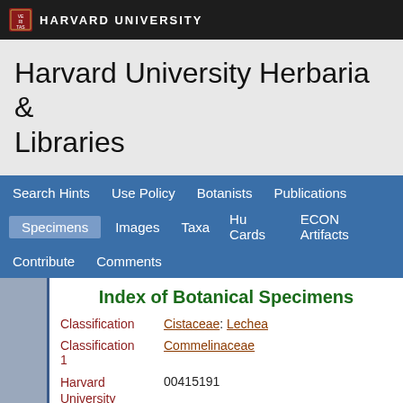HARVARD UNIVERSITY
Harvard University Herbaria & Libraries
Search Hints  Use Policy  Botanists  Publications  Specimens  Images  Taxa  Hu Cards  ECON Artifacts  Contribute  Comments
Index of Botanical Specimens
| Field | Value |
| --- | --- |
| Classification | Cistaceae: Lechea |
| Classification 1 | Commelinaceae |
| Harvard University Herbaria Barcode(s) | 00415191 |
| Collector | N. T. Kidder |
| Country | United States of America |
| State | Massachusetts |